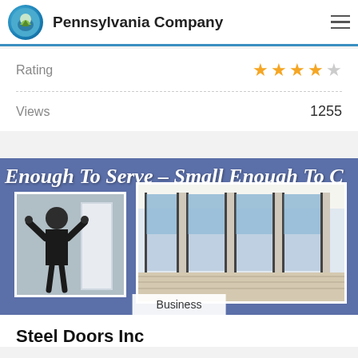Pennsylvania Company
Rating
Views  1255
[Figure (photo): Business banner image showing text 'Enough To Serve - Small Enough To C...' with a worker installing a window/door on the left and a room with large glass sliding doors on the right. Bottom label reads 'Business'.]
Steel Doors Inc